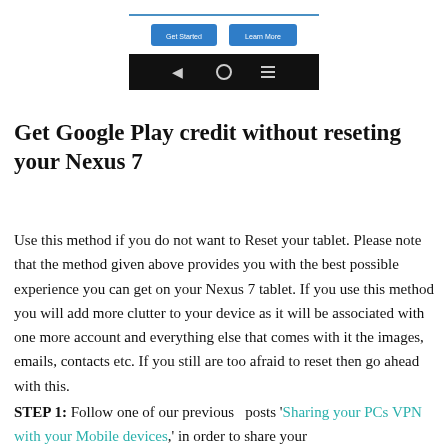[Figure (screenshot): Screenshot of a tablet UI showing two blue buttons labeled 'Get Started' and 'Learn More', with a black navigation bar below containing back, home, and menu icons.]
Get Google Play credit without reseting your Nexus 7
Use this method if you do not want to Reset your tablet. Please note that the method given above provides you with the best possible experience you can get on your Nexus 7 tablet. If you use this method you will add more clutter to your device as it will be associated with one more account and everything else that comes with it the images, emails, contacts etc. If you still are too afraid to reset then go ahead with this.
STEP 1: Follow one of our previous posts 'Sharing your PCs VPN with your Mobile devices,' in order to share your